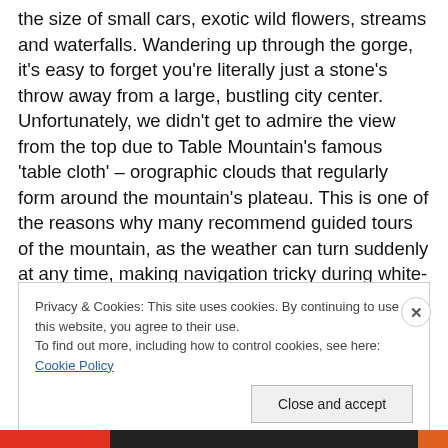the size of small cars, exotic wild flowers, streams and waterfalls. Wandering up through the gorge, it's easy to forget you're literally just a stone's throw away from a large, bustling city center. Unfortunately, we didn't get to admire the view from the top due to Table Mountain's famous 'table cloth' – orographic clouds that regularly form around the mountain's plateau. This is one of the reasons why many recommend guided tours of the mountain, as the weather can turn suddenly at any time, making navigation tricky during white-outs. For me, it only gave me an excuse to return to this beautiful city.
Privacy & Cookies: This site uses cookies. By continuing to use this website, you agree to their use.
To find out more, including how to control cookies, see here: Cookie Policy
Close and accept